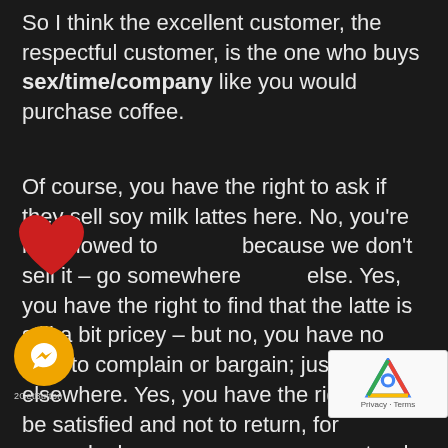So I think the excellent customer, the respectful customer, is the one who buys sex/time/company like you would purchase coffee.
Of course, you have the right to ask if they sell soy milk lattes here. No, you're not allowed to because we don't sell it – go somewhere else. Yes, you have the right to find that the latte is still a bit pricey – but no, you have no right to complain or bargain; just go elsewhere. Yes, you have the right not to be satisfied and not to return, for example, because you were guaranteed that we were soy milk lattes, but we only serve oat milk cappuccinos once there. And next time you'll go somewhere else.